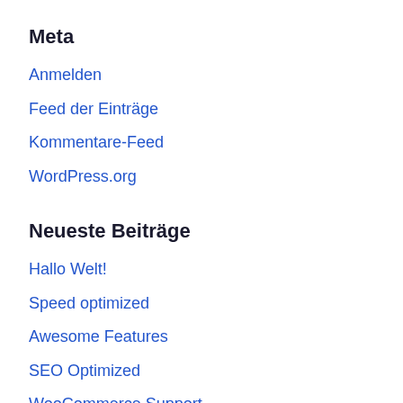Meta
Anmelden
Feed der Einträge
Kommentare-Feed
WordPress.org
Neueste Beiträge
Hallo Welt!
Speed optimized
Awesome Features
SEO Optimized
WooCommerce Support